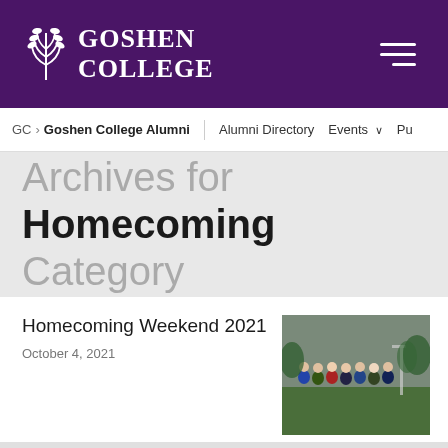[Figure (logo): Goshen College logo: white wheat/leaf icon with white text 'GOSHEN COLLEGE' on purple background]
GC › Goshen College Alumni   Alumni Directory   Events   Pu
Archives for Homecoming Category
Homecoming Weekend 2021
October 4, 2021
[Figure (photo): Group of people standing together on a grass field near a goal post, outdoors, overcast sky]